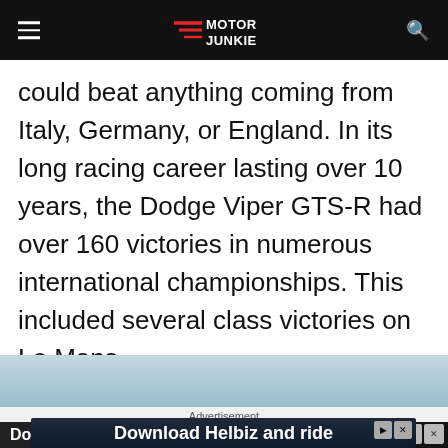Motor Junkie
could beat anything coming from Italy, Germany, or England. In its long racing career lasting over 10 years, the Dodge Viper GTS-R had over 160 victories in numerous international championships. This included several class victories on Le Mans.
[Figure (photo): Partial image of a vehicle or outdoor scene, visible at the bottom of the page]
Advertisement
[Figure (screenshot): Advertisement banner reading 'Download Helbiz and ride' with scooter image and close/skip controls]